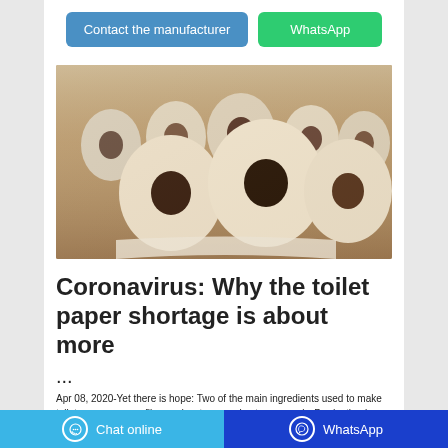[Figure (other): Two UI buttons: 'Contact the manufacturer' (blue) and 'WhatsApp' (green)]
[Figure (photo): Photo of multiple toilet paper rolls arranged on a wooden surface]
Coronavirus: Why the toilet paper shortage is about more
...
Apr 08, 2020-Yet there is hope: Two of the main ingredients used to make toilet paper – paper fiber and water – are in strong supply. Production is being ramped up
Chat online   WhatsApp